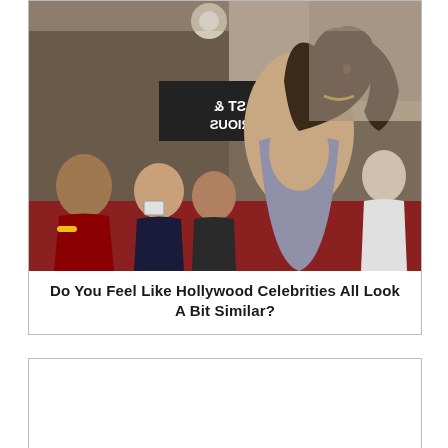[Figure (photo): A woman in a backless grey dress at a Hollywood premiere event (Fast & Furious style backdrop), posing for fans who are taking photos. Red carpet visible, crowd of fans in background.]
Do You Feel Like Hollywood Celebrities All Look A Bit Similar?
[Figure (other): Empty white box / advertisement placeholder below the article card.]